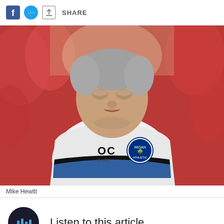SHARE
[Figure (photo): A man wearing a white Wigan Athletic kit with 'OC' printed on the chest and a Wigan Athletic badge, looking upward, with a red blurred crowd background. Photo credit: Mike Hewitt.]
Mike Hewitt
Listen to this article